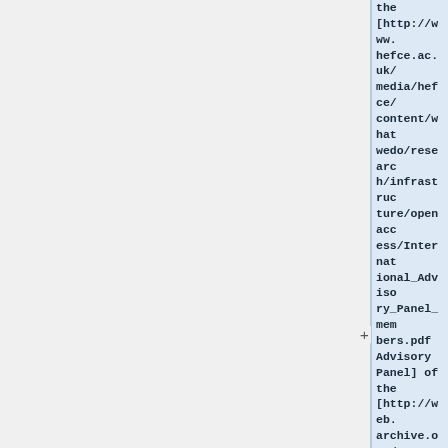the [http://www.hefce.ac.uk/media/hefce/content/whatwedo/research/infrastructure/openaccess/International_Advisory_Panel_members.pdf Advisory Panel] of the [http://web.archive.org/web/20140904101654/http://www.hefce.ac.uk/whatwedo/rsrch/rin